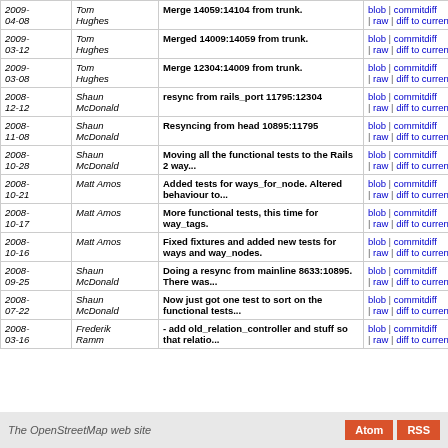| Date | Author | Message | Links |
| --- | --- | --- | --- |
| 2009-04-08 | Tom Hughes | Merge 14059:14104 from trunk. | blob | commitdiff | raw | diff to current |
| 2009-03-12 | Tom Hughes | Merged 14009:14059 from trunk. | blob | commitdiff | raw | diff to current |
| 2009-03-08 | Tom Hughes | Merge 12304:14009 from trunk. | blob | commitdiff | raw | diff to current |
| 2008-12-12 | Shaun McDonald | resync from rails_port 11795:12304 | blob | commitdiff | raw | diff to current |
| 2008-11-08 | Shaun McDonald | Resyncing from head 10895:11795 | blob | commitdiff | raw | diff to current |
| 2008-10-28 | Shaun McDonald | Moving all the functional tests to the Rails 2 way... | blob | commitdiff | raw | diff to current |
| 2008-10-21 | Matt Amos | Added tests for ways_for_node. Altered behaviour to... | blob | commitdiff | raw | diff to current |
| 2008-10-17 | Matt Amos | More functional tests, this time for way_tags. | blob | commitdiff | raw | diff to current |
| 2008-10-16 | Matt Amos | Fixed fixtures and added new tests for ways and way_nodes. | blob | commitdiff | raw | diff to current |
| 2008-09-25 | Shaun McDonald | Doing a resync from mainline 8633:10895. There was... | blob | commitdiff | raw | diff to current |
| 2008-07-22 | Shaun McDonald | Now just got one test to sort on the functional tests... | blob | commitdiff | raw | diff to current |
| 2008-03-16 | Frederik Ramm | - add old_relation_controller and stuff so that relatio... | blob | commitdiff | raw | diff to current |
The OpenStreetMap web site